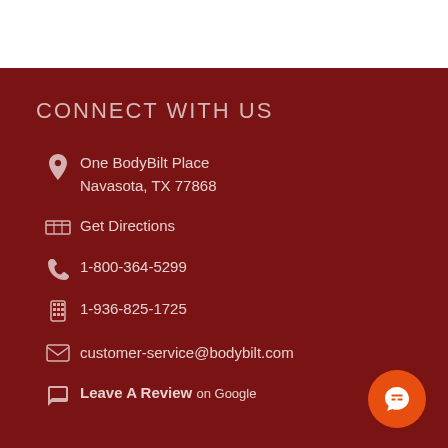CONNECT WITH US
One BodyBilt Place
Navasota, TX 77868
Get Directions
1-800-364-5299
1-936-825-1725
customer-service@bodybilt.com
Leave A Review on Google
[Figure (illustration): Orange circular chat bubble button in bottom right corner]